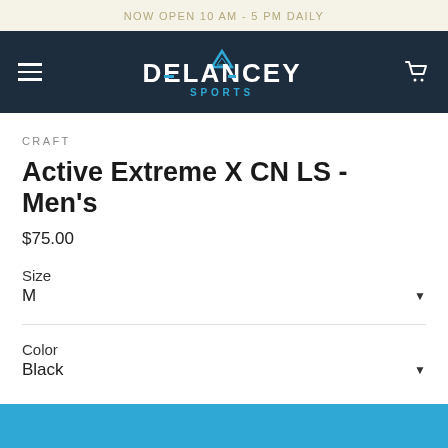NOW OPEN 10 AM - 5 PM DAILY
[Figure (logo): Delancey Sports logo on dark navy navigation bar with hamburger menu and cart icon]
CRAFT
Active Extreme X CN LS - Men's
$75.00
Size
M
Color
Black